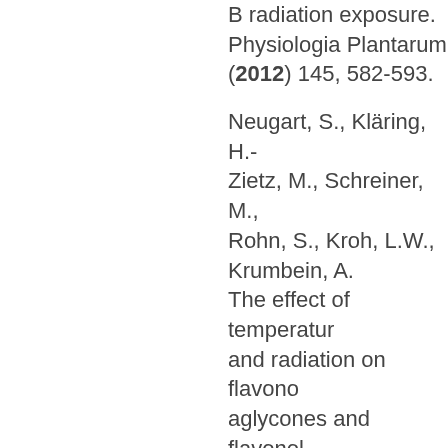B radiation exposure. Physiologia Plantarum (2012) 145, 582-593.
Neugart, S., Kläring, H.-P., Zietz, M., Schreiner, M., Rohn, S., Kroh, L.W., Krumbein, A. The effect of temperature and radiation on flavonol aglycones and flavonol glycosides of kale (Brassica oleracea var. sabellica). Food Chem. (2012) 133, 1456-1465.
Fiol, M., Adermann, S., Neugart, S., Rohn, S., Schreiner, M., Krumbein...